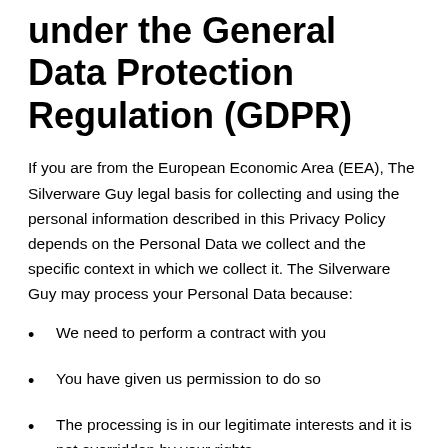under the General Data Protection Regulation (GDPR)
If you are from the European Economic Area (EEA), The Silverware Guy legal basis for collecting and using the personal information described in this Privacy Policy depends on the Personal Data we collect and the specific context in which we collect it. The Silverware Guy may process your Personal Data because:
We need to perform a contract with you
You have given us permission to do so
The processing is in our legitimate interests and it is not overridden by your rights